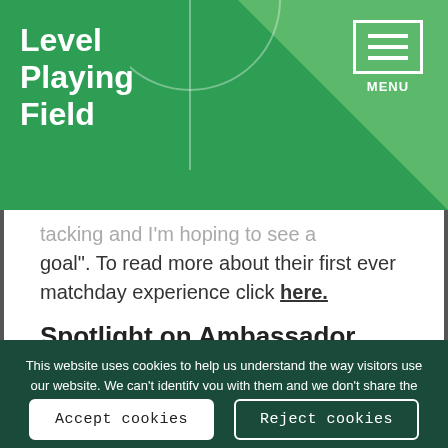Level Playing Field — MENU
…tacking and I'm hoping to see a goal". To read more about their first ever matchday experience click here.
Spotlight on Ambassador
This website uses cookies to help us understand the way visitors use our website. We can't identify you with them and we don't share the data with anyone else. Find out more in our privacy policy.
Accept cookies   Reject cookies